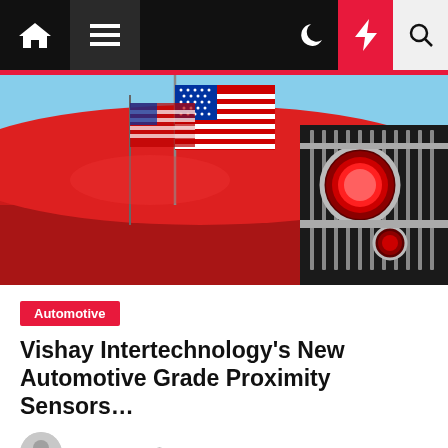Navigation bar with home, menu, dark mode, lightning, and search icons
[Figure (photo): Close-up of a red classic car with American flags and a chrome taillight]
Automotive
Vishay Intertechnology's New Automotive Grade Proximity Sensors…
Willy Urias  1 year ago